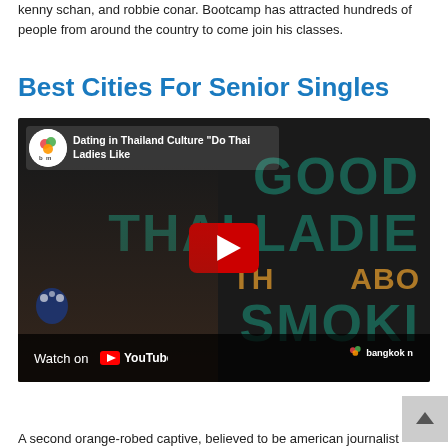kenny schan, and robbie conar. Bootcamp has attracted hundreds of people from around the country to come join his classes.
Best Cities For Senior Singles
[Figure (screenshot): YouTube video thumbnail showing a woman seated in front of a sign reading 'GOOD THAI LADIES THINK ABOUT SMOKING' with YouTube play button overlay. Channel is 'bm' (Bangkok). Video title: Dating in Thailand Culture "Do Thai Ladies Like..."]
A second orange-robed captive, believed to be american journalist